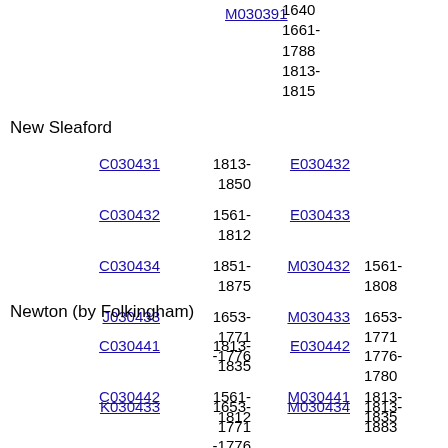1640
1661-1788
1813-1815
New Sleaford
| Code | Years | Code2 | Years2 |
| --- | --- | --- | --- |
| C030431 | 1813-1850 | E030432 |  |
| C030432 | 1561-1812 | E030433 |  |
| C030434 | 1851-1875 | M030432 | 1561-1808 |
| J030433 | 1653-1771-1776 | M030433 | 1653-1771 1776-1780 |
| K030433 | 1653-1771-1776 | M030434 | 1813-1883 |
Newton (by Folkingham)
| Code | Years | Code2 | Years2 |
| --- | --- | --- | --- |
| C030441 | 1813-1835 | E030442 |  |
| C030442 | 1561-1812 | M030441 | 1813-1835 |